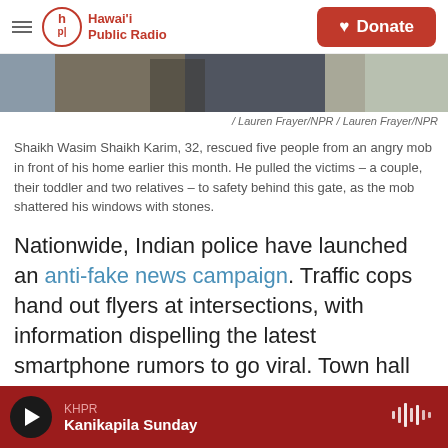Hawai'i Public Radio — Donate
[Figure (photo): Cropped photo showing a person in khaki pants standing near a gate/door area]
/ Lauren Frayer/NPR / Lauren Frayer/NPR
Shaikh Wasim Shaikh Karim, 32, rescued five people from an angry mob in front of his home earlier this month. He pulled the victims – a couple, their toddler and two relatives – to safety behind this gate, as the mob shattered his windows with stones.
Nationwide, Indian police have launched an anti-fake news campaign. Traffic cops hand out flyers at intersections, with information dispelling the latest smartphone rumors to go viral. Town hall meetings are being convened across the country.
KHPR — Kanikapila Sunday